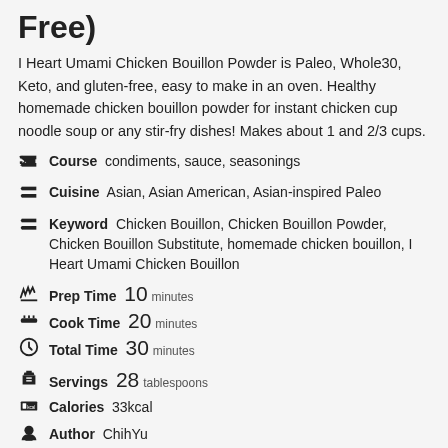Free)
I Heart Umami Chicken Bouillon Powder is Paleo, Whole30, Keto, and gluten-free, easy to make in an oven. Healthy homemade chicken bouillon powder for instant chicken cup noodle soup or any stir-fry dishes! Makes about 1 and 2/3 cups.
Course  condiments, sauce, seasonings
Cuisine  Asian, Asian American, Asian-inspired Paleo
Keyword  Chicken Bouillon, Chicken Bouillon Powder, Chicken Bouillon Substitute, homemade chicken bouillon, I Heart Umami Chicken Bouillon
Prep Time  10 minutes
Cook Time  20 minutes
Total Time  30 minutes
Servings  28 tablespoons
Calories  33kcal
Author  ChihYu
Ingredients
6 oz. de-hydrated shiitake mushrooms , grind to fine powder